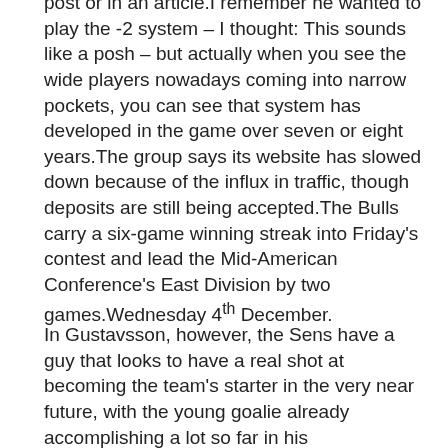post or in an article.I remember he wanted to play the -2 system – I thought: This sounds like a posh – but actually when you see the wide players nowadays coming into narrow pockets, you can see that system has developed in the game over seven or eight years.The group says its website has slowed down because of the influx in traffic, though deposits are still being accepted.The Bulls carry a six-game winning streak into Friday's contest and lead the Mid-American Conference's East Division by two games.Wednesday 4th December.
In Gustavsson, however, the Sens have a guy that looks to have a real shot at becoming the team's starter in the very near future, with the young goalie already accomplishing a lot so far in his career.Mourinho waits.U18 Euro